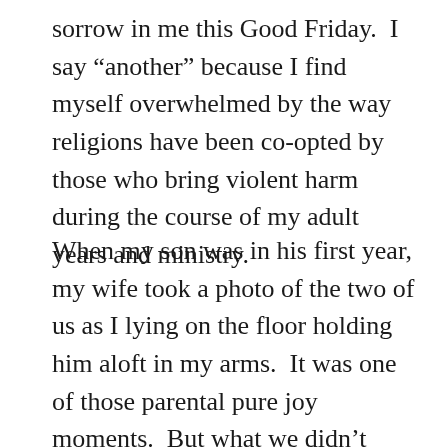sorrow in me this Good Friday.  I say “another” because I find myself overwhelmed by the way religions have been co-opted by those who bring violent harm during the course of my adult years and ministry.
When my son was in his first year, my wife took a photo of the two of us as I lying on the floor holding him aloft in my arms.  It was one of those parental pure joy moments.  But what we didn’t consider is that the television news was on behind the scene of the tow of us.  Onscreen was a